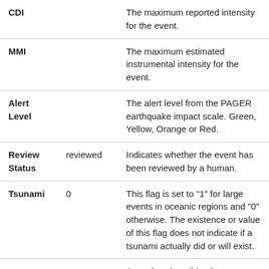| Name | Value | Description |
| --- | --- | --- |
| CDI |  | The maximum reported intensity for the event. |
| MMI |  | The maximum estimated instrumental intensity for the event. |
| Alert Level |  | The alert level from the PAGER earthquake impact scale. Green, Yellow, Orange or Red. |
| Review Status | reviewed | Indicates whether the event has been reviewed by a human. |
| Tsunami | 0 | This flag is set to "1" for large events in oceanic regions and "0" otherwise. The existence or value of this flag does not indicate if a tsunami actually did or will exist. |
|  |  | A number describing how |